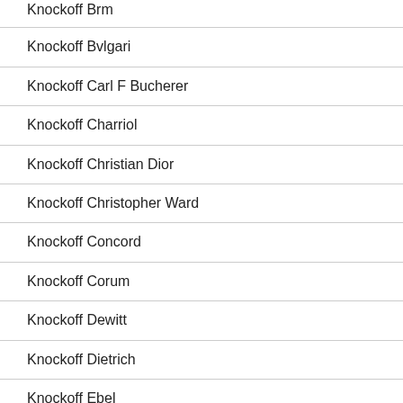Knockoff Brm
Knockoff Bvlgari
Knockoff Carl F Bucherer
Knockoff Charriol
Knockoff Christian Dior
Knockoff Christopher Ward
Knockoff Concord
Knockoff Corum
Knockoff Dewitt
Knockoff Dietrich
Knockoff Ebel
Knockoff Eberhard and C